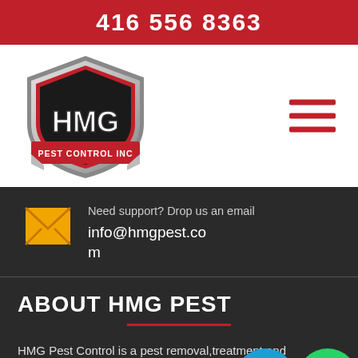416 556 8363
[Figure (logo): HMG Pest Control Inc shield logo with red and silver shield, HMG letters in white, PEST CONTROL INC banner at bottom]
Need support? Drop us an email
info@hmgpest.com
ABOUT HMG PEST
HMG Pest Control is a pest removal,treatment and extermination company based in Toron… specia… all types of pest control issues, whether it… cockro…